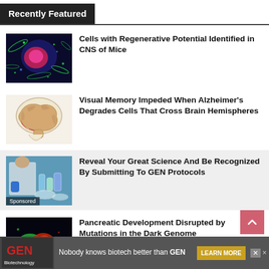Recently Featured
Cells with Regenerative Potential Identified in CNS of Mice
Visual Memory Impeded When Alzheimer's Degrades Cells That Cross Brain Hemispheres
Reveal Your Great Science And Be Recognized By Submitting To GEN Protocols
Pancreatic Development Disrupted by Mutations in the Dark Genome
Nobody knows biotech better than GEN
LEARN MORE